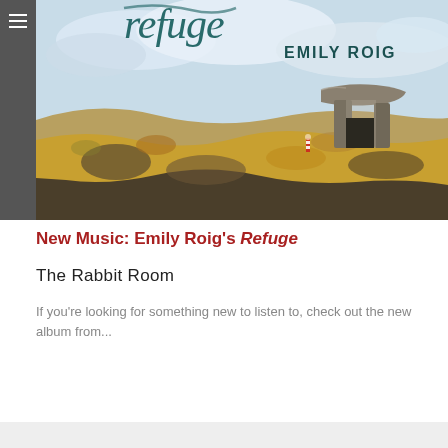[Figure (illustration): Album cover art for Emily Roig's 'Refuge' — watercolor painting showing rocky coastal landscape with yellow-ochre rocks, a stone dolmen structure, blue sky with white clouds, teal cursive 'refuge' text at top left, and 'EMILY ROIG' text at top right in serif capitals.]
New Music: Emily Roig's Refuge
The Rabbit Room
If you're looking for something new to listen to, check out the new album from...